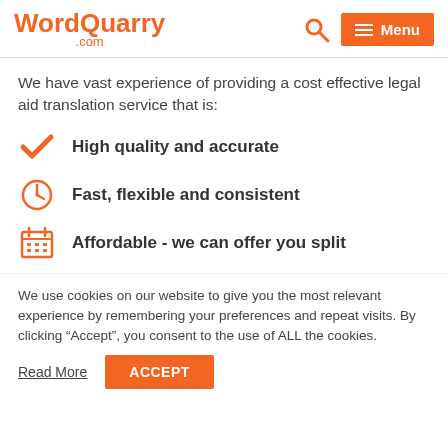WordQuarry.com — Menu
We have vast experience of providing a cost effective legal aid translation service that is:
High quality and accurate
Fast, flexible and consistent
Affordable - we can offer you split
We use cookies on our website to give you the most relevant experience by remembering your preferences and repeat visits. By clicking “Accept”, you consent to the use of ALL the cookies.
Read More  ACCEPT